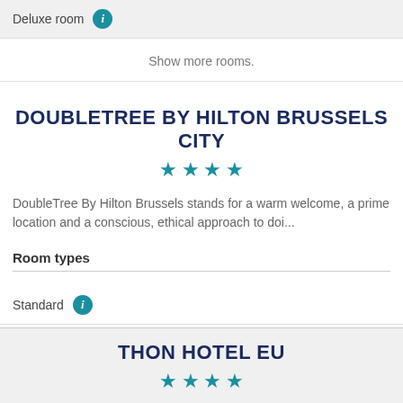Deluxe room
Show more rooms.
DOUBLETREE BY HILTON BRUSSELS CITY
[Figure (other): 4 teal star rating icons]
DoubleTree By Hilton Brussels stands for a warm welcome, a prime location and a conscious, ethical approach to doi...
Room types
Standard
THON HOTEL EU
[Figure (other): 4 teal star rating icons]